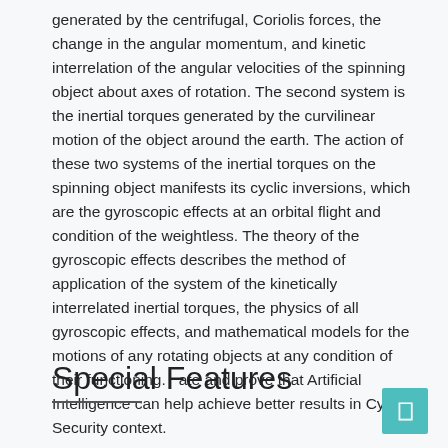generated by the centrifugal, Coriolis forces, the change in the angular momentum, and kinetic interrelation of the angular velocities of the spinning object about axes of rotation. The second system is the inertial torques generated by the curvilinear motion of the object around the earth. The action of these two systems of the inertial torques on the spinning object manifests its cyclic inversions, which are the gyroscopic effects at an orbital flight and condition of the weightless. The theory of the gyroscopic effects describes the method of application of the system of the kinetically interrelated inertial torques, the physics of all gyroscopic effects, and mathematical models for the motions of any rotating objects at any condition of their functioning.   ate and prove that Artificial Intelligence can help achieve better results in Cyber Security context.
Special Features